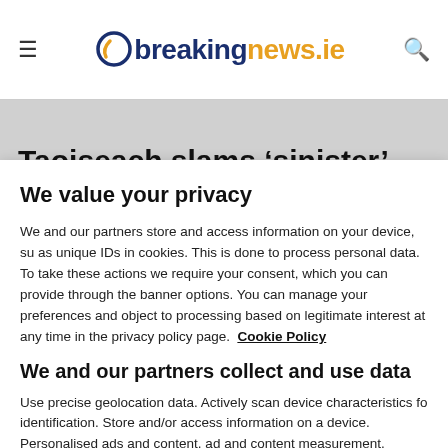breakingnews.ie
Taoiseach slams ‘sinister’
We value your privacy
We and our partners store and access information on your device, su as unique IDs in cookies. This is done to process personal data. To take these actions we require your consent, which you can provide through the banner options. You can manage your preferences and object to processing based on legitimate interest at any time in the privacy policy page.  Cookie Policy
We and our partners collect and use data
Use precise geolocation data. Actively scan device characteristics fo identification. Store and/or access information on a device. Personalised ads and content, ad and content measurement, audienc insights and product development.
List of Partners (vendors)